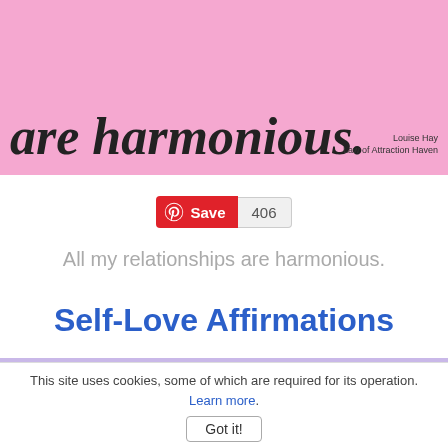[Figure (illustration): Pink banner with italic bold cursive text 'are harmonious.' and attribution 'Louise Hay / Law of Attraction Haven' at bottom right]
Save  406
All my relationships are harmonious.
Self-Love Affirmations
[Figure (illustration): Purple/lavender banner with italic serif text 'I am loved and accepted exactly as I am, right here']
This site uses cookies, some of which are required for its operation. Learn more.
Got it!